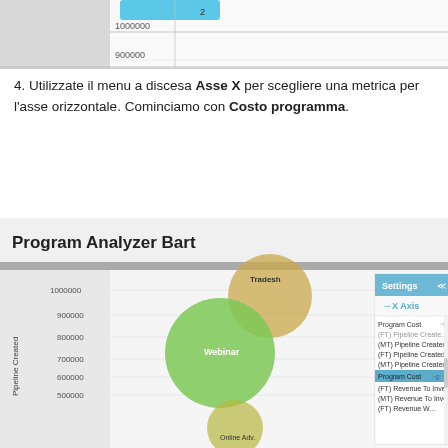[Figure (screenshot): Top portion of a chart UI showing y-axis values 900000 and 1000000 with axis line, light grey background chart area]
4. Utilizzate il menu a discesa Asse X per scegliere una metrica per l'asse orizzontale. Cominciamo con Costo programma.
[Figure (screenshot): Program Analyzer Bart bubble chart screenshot showing bubbles for Tradesh, Webinar, Online Adv on a y-axis of Pipeline Created (500000-1000000), with a Settings panel open showing X Axis dropdown with options: Program Cost, (FT) Pipeline Created - Still Op, (MT) Pipeline Created - Still Op, (FT) Pipeline Created, (MT) Pipeline Created, Program Cost (highlighted), (FT) Revenue To Investment, (MT) Revenue To Investment, (FT) Revenue W...]